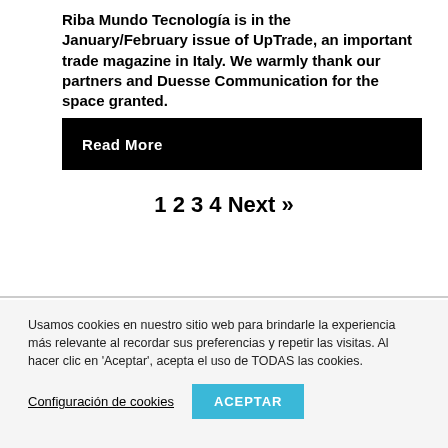Riba Mundo Tecnología is in the January/February issue of UpTrade, an important trade magazine in Italy. We warmly thank our partners and Duesse Communication for the space granted.
Read More
1 2 3 4 Next »
Usamos cookies en nuestro sitio web para brindarle la experiencia más relevante al recordar sus preferencias y repetir las visitas. Al hacer clic en 'Aceptar', acepta el uso de TODAS las cookies.
Configuración de cookies
ACEPTAR